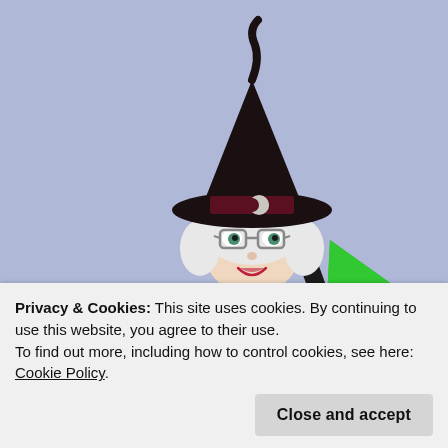[Figure (illustration): Cartoon bitmoji-style illustration of a woman wearing a black witch hat with a crescent moon emblem, glasses, short white/gray hair, black outfit, holding a pencil in one hand and an open orange book in the other. She is sitting behind a blue laptop with a green lid. Below her are stacks of colorful books. The background is a light periwinkle/lavender blue.]
Privacy & Cookies: This site uses cookies. By continuing to use this website, you agree to their use.
To find out more, including how to control cookies, see here: Cookie Policy
Close and accept